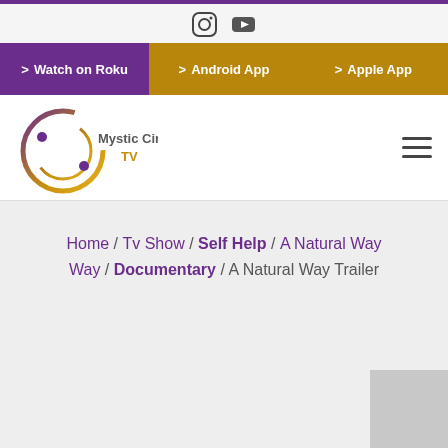[Figure (logo): Mystic Circle TV logo — circular swirl in purple and gold gradient with text 'Mystic Circle TV']
Home / Tv Show / Self Help / A Natural Way / Documentary / A Natural Way Trailer